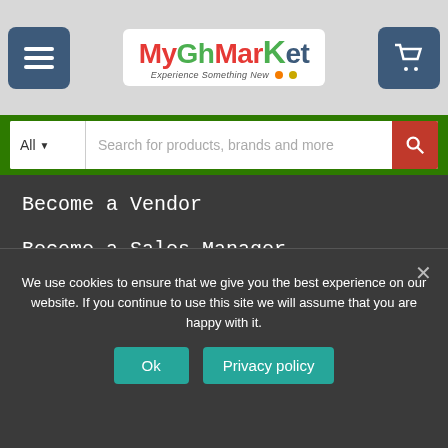[Figure (logo): MyGhMarKet logo with tagline 'Experience Something New']
All  Search for products, brands and more
Become a Vendor
Become a Sales Manager
Track your order
Repair Your Device
Contact us
Return Policy
We use cookies to ensure that we give you the best experience on our website. If you continue to use this site we will assume that you are happy with it.